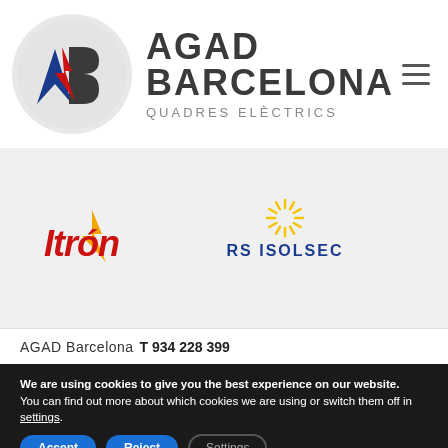[Figure (logo): AGAD Barcelona Quadres Elèctrics logo with circular emblem containing blue and dark stylized AB letters with red lightning bolt, plus company name text]
[Figure (logo): Itron logo in red italic text with orange lightning bolt accent]
[Figure (logo): RS Isolsec logo with yellow sunburst/radial lines icon above blue text RS ISOLSEC]
AGAD Barcelona   T 934 228 399
We are using cookies to give you the best experience on our website.
You can find out more about which cookies we are using or switch them off in settings.
Accept
Reject
Settings